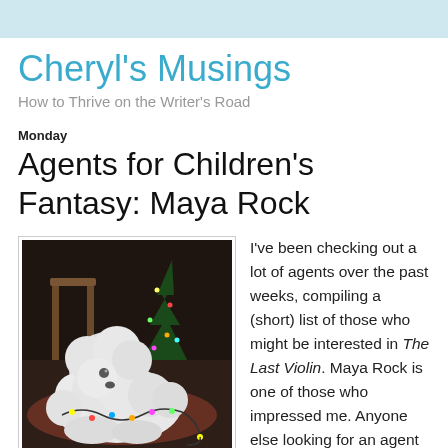Cheryl's Musings
How to Thrive on the Writer's Road
Monday
Agents for Children's Fantasy: Maya Rock
[Figure (photo): A fluffy white dog lying on the floor with Christmas lights wrapped around it, with a Christmas tree in the background.]
I've been checking out a lot of agents over the past weeks, compiling a (short) list of those who might be interested in The Last Violin. Maya Rock is one of those who impressed me. Anyone else looking for an agent for children's fantasy writing?
Here's what I learned: